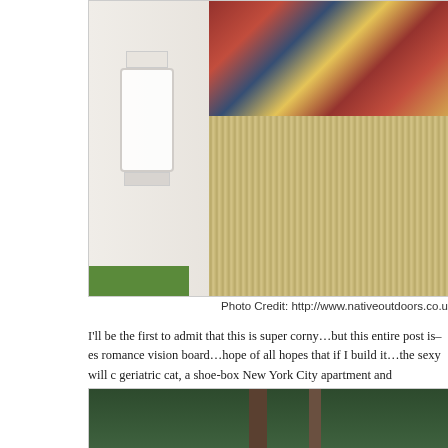[Figure (photo): Interior of a glamping tent showing a white lantern on green grass, colorful patchwork pillows in red, blue, and gold patterns, and a woven mat/rug on the floor.]
Photo Credit: http://www.nativeoutdoors.co.u
I'll be the first to admit that this is super corny…but this entire post is–es romance vision board…hope of all hopes that if I build it…the sexy will c geriatric cat, a shoe-box New York City apartment and basically…well,  The following is my sweeping romantic Hollywood movie vs. the reality frayed Mommy influenced ideal of what's super hot and would be wholl dream: a child-free weekend.
[Figure (photo): Forest scene with tall tree trunks and dense green foliage, with what appears to be a hammock or hanging textile visible at the bottom.]